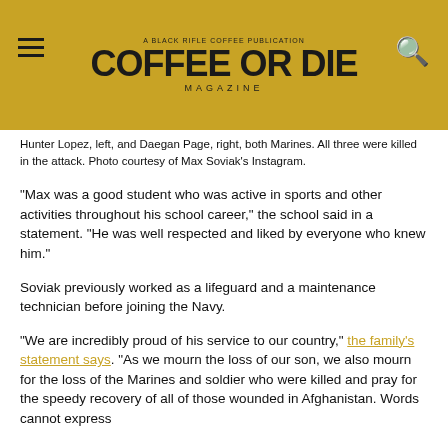COFFEE OR DIE MAGAZINE
Hunter Lopez, left, and Daegan Page, right, both Marines. All three were killed in the attack. Photo courtesy of Max Soviak's Instagram.
“Max was a good student who was active in sports and other activities throughout his school career,” the school said in a statement. “He was well respected and liked by everyone who knew him.”
Soviak previously worked as a lifeguard and a maintenance technician before joining the Navy.
“We are incredibly proud of his service to our country,” the family’s statement says. “As we mourn the loss of our son, we also mourn for the loss of the Marines and soldier who were killed and pray for the speedy recovery of all of those wounded in Afghanistan. Words cannot express